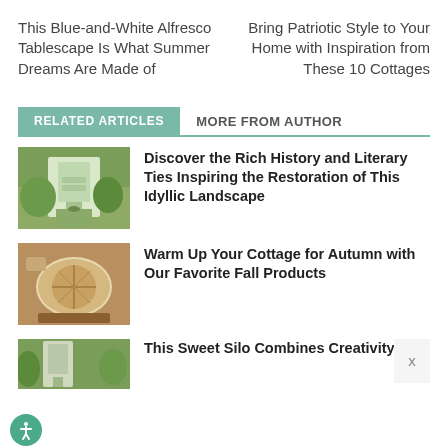This Blue-and-White Alfresco Tablescape Is What Summer Dreams Are Made of
Bring Patriotic Style to Your Home with Inspiration from These 10 Cottages
RELATED ARTICLES
MORE FROM AUTHOR
[Figure (photo): Garden path with greenery and a building in background]
Discover the Rich History and Literary Ties Inspiring the Restoration of This Idyllic Landscape
[Figure (photo): Top-down view of a pie or baked good on a wooden board]
Warm Up Your Cottage for Autumn with Our Favorite Fall Products
[Figure (photo): Silo building exterior with greenery]
This Sweet Silo Combines Creativity